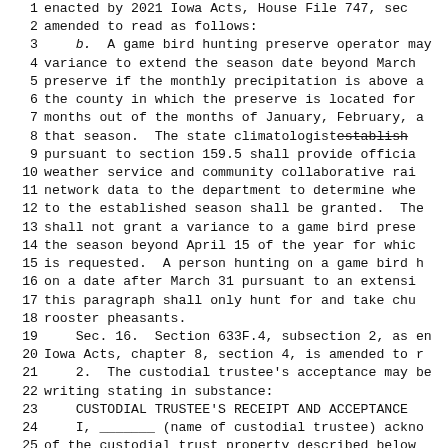1  enacted by 2021 Iowa Acts, House File 747, sec...
2  amended to read as follows:
3      b.  A game bird hunting preserve operator may...
4  variance to extend the season date beyond March...
5  preserve if the monthly precipitation is above a...
6  the county in which the preserve is located for...
7  months out of the months of January, February, a...
8  that season.  The state climatologist establish...
9  pursuant to section 159.5 shall provide officia...
10  weather service and community collaborative rai...
11  network data to the department to determine whe...
12  to the established season shall be granted.  The...
13  shall not grant a variance to a game bird prese...
14  the season beyond April 15 of the year for whic...
15  is requested.  A person hunting on a game bird h...
16  on a date after March 31 pursuant to an extensi...
17  this paragraph shall only hunt for and take chu...
18  rooster pheasants.
19      Sec. 16.  Section 633F.4, subsection 2, as en...
20  Iowa Acts, chapter 8, section 4, is amended to r...
21      2.  The custodial trustee's acceptance may be...
22  writing stating in substance:
23      CUSTODIAL TRUSTEE'S RECEIPT AND ACCEPTANCE
24      I, _______ (name of custodial trustee) ackno...
25  of the custodial trust property described below...
26  attached instrument and accept the custodial tr...